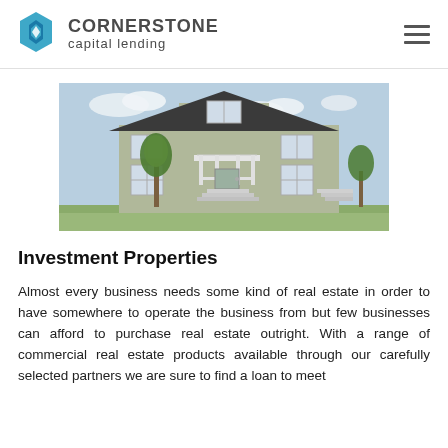CORNERSTONE capital lending
[Figure (photo): Exterior photo of a multi-unit residential investment property — a two-story green/grey sided house with a covered front porch, white railings, stairs, and trees in foreground, against a partly cloudy sky.]
Investment Properties
Almost every business needs some kind of real estate in order to have somewhere to operate the business from but few businesses can afford to purchase real estate outright. With a range of commercial real estate products available through our carefully selected partners we are sure to find a loan to meet